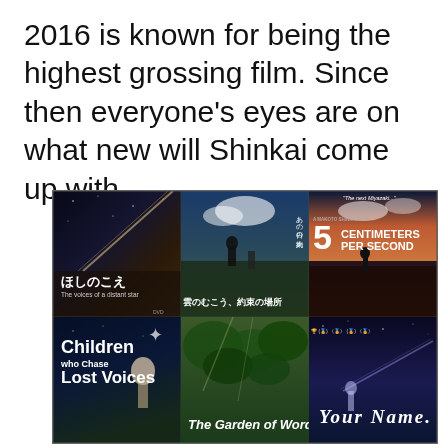2016 is known for being the highest grossing film. Since then everyone's eyes are on what new will Shinkai come up with.
[Figure (photo): A 2x3 grid of Makoto Shinkai anime film posters: 'The Voices of a Distant Star' (ほしのこえ), 'The Place Promised in Our Early Days' (雲のむこう、約束の場所), '5 Centimeters Per Second', 'Children Who Chase Lost Voices', 'The Garden of Words', and 'Your Name.']